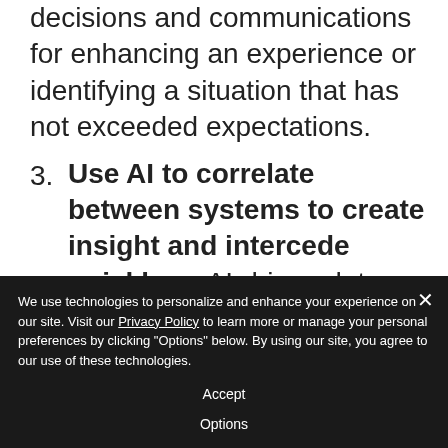decisions and communications for enhancing an experience or identifying a situation that has not exceeded expectations.
3. Use AI to correlate between systems to create insight and intercede quickly — AI-driven data tools could provide hotel staff with recommendations on how to
We use technologies to personalize and enhance your experience on our site. Visit our Privacy Policy to learn more or manage your personal preferences by clicking "Options" below. By using our site, you agree to our use of these technologies.
Accept
Options